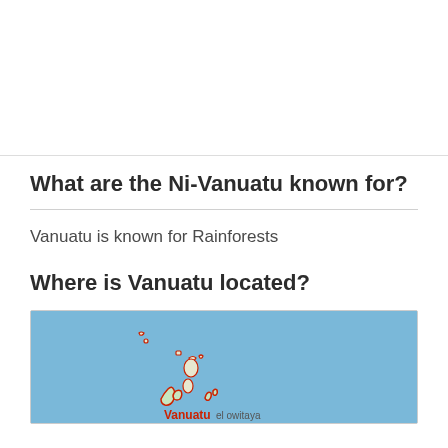What are the Ni-Vanuatu known for?
Vanuatu is known for Rainforests
Where is Vanuatu located?
[Figure (map): Map showing the location of Vanuatu in the Pacific Ocean, with islands outlined in red/green on a blue ocean background. The label 'Vanuatu' appears in red bold text near the main island group, with 'el owitaya' visible to the right.]